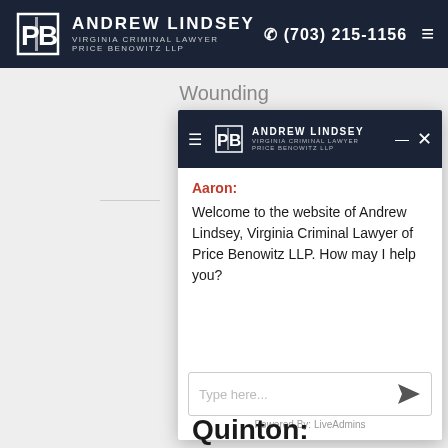Andrew Lindsey Virginia Criminal Lawyer Price Benowitz LLP | (703) 215-1156
Wounding
[Figure (screenshot): Chat widget overlay showing Andrew Lindsey Virginia Criminal Lawyer Price Benowitz LLP chatbot with message from Aaron: 'Welcome to the website of Andrew Lindsey, Virginia Criminal Lawyer of Price Benowitz LLP. How may I help you?' and a text input area with 'Type here...' placeholder, powered by LiveAdmins]
Aaron:
Welcome to the website of Andrew Lindsey, Virginia Criminal Lawyer of Price Benowitz LLP. How may I help you?
Type here...
Powered By: LiveAdmins
Quinton: